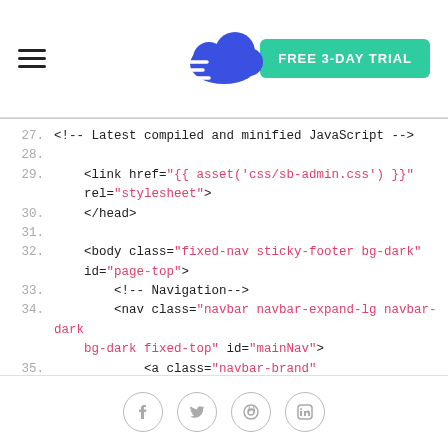[Figure (screenshot): Website header/navigation bar with hamburger menu, cloud logo, and FREE 3-DAY TRIAL button]
27.  <!-- Latest compiled and minified JavaScript -->
28.
29.      <link href="{{ asset('css/sb-admin.css') }}" rel="stylesheet">
30.  </head>
31.
32.  <body class="fixed-nav sticky-footer bg-dark" id="page-top">
33.      <!-- Navigation-->
34.      <nav class="navbar navbar-expand-lg navbar-dark bg-dark fixed-top" id="mainNav">
35.          <a class="navbar-brand" href="index.html">Start Bootstrap</a>
36.          <button class="navbar-toggler navbar-toggler-right" type="button" data-toggle="collapse" data-target="#navbarResponsive" aria-controls="navbarResponsive" aria-expanded="false" aria-label="Toggle navigation">
37.              <span class="navbar-toggler-icon"></span>
[Figure (screenshot): Social sharing icons: Facebook, Twitter, Pinterest, LinkedIn]